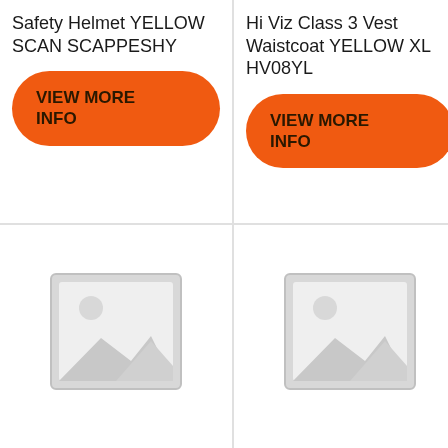Safety Helmet YELLOW SCAN SCAPPESHY
[Figure (other): Orange rounded rectangle button with text VIEW MORE INFO]
Hi Viz Class 3 Vest Waistcoat YELLOW XL HV08YL
[Figure (other): Orange rounded rectangle button with text VIEW MORE INFO]
[Figure (photo): Placeholder image icon - grey frame with mountain landscape silhouette and sun circle]
[Figure (photo): Placeholder image icon - grey frame with mountain landscape silhouette and sun circle]